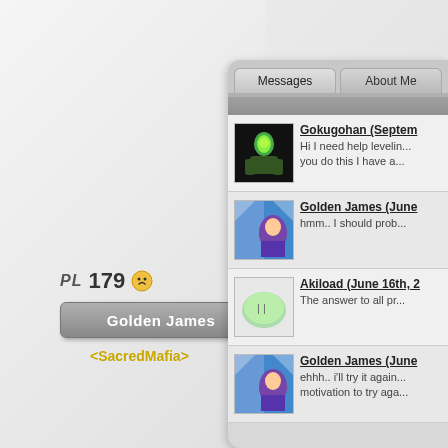PL 179
Golden James
<SacredMafia>
Messages | About Me
Gokugohan (Septem...
Hi I need help levelin... you do this I have a...
Golden James (June...
hmm.. I should prob...
Akiload (June 16th, 2...
The answer to all pr...
Golden James (June...
ehhh.. i'll try it again... motivation to try aga...